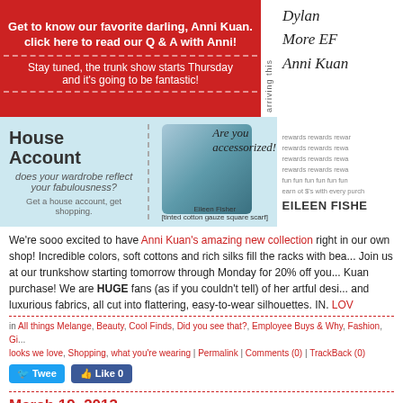[Figure (infographic): Red banner with text about Anni Kuan trunk show, with cursive names on right side and 'arriving this' vertical text]
[Figure (infographic): Light blue banner with House Account ad, scarf photo with 'Are you accessorized?' text, and Eileen Fisher rewards section]
We're sooo excited to have Anni Kuan's amazing new collection right in our own shop! Incredible colors, soft cottons and rich silks fill the racks with bea... Join us at our trunkshow starting tomorrow through Monday for 20% off you... Kuan purchase! We are HUGE fans (as if you couldn't tell) of her artful desi... and luxurious fabrics, all cut into flattering, easy-to-wear silhouettes. IN. LOV
in All things Melange, Beauty, Cool Finds, Did you see that?, Employee Buys & Why, Fashion, Gi... looks we love, Shopping, what you're wearing | Permalink | Comments (0) | TrackBack (0)
[Figure (infographic): Twitter Tweet button and Facebook Like 0 button]
March 19, 2013
Melange Is In Full Bloom!!!